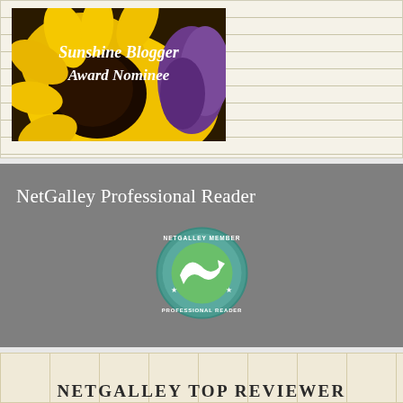[Figure (illustration): Sunshine Blogger Award Nominee badge with sunflower and purple flowers background, white script text reading 'Sunshine Blogger Award Nominee']
[Figure (infographic): NetGalley Professional Reader banner with gray background, white title text 'NetGalley Professional Reader' and circular NetGalley Member Professional Reader badge]
[Figure (illustration): NetGalley Top Reviewer badge on yellow grid-paper background with text 'NETGALLEY TOP REVIEWER']